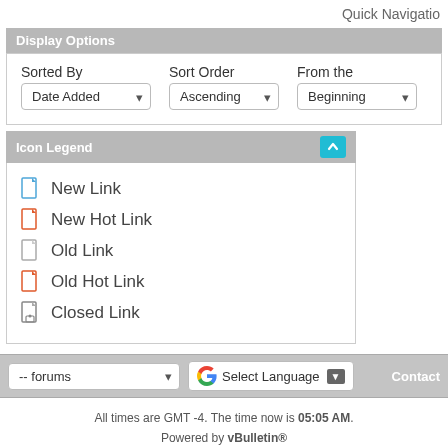Quick Navigation
Display Options
Sorted By: Date Added | Sort Order: Ascending | From the: Beginning
Icon Legend
New Link
New Hot Link
Old Link
Old Hot Link
Closed Link
-- forums | Select Language | Contact
All times are GMT -4. The time now is 05:05 AM. Powered by vBulletin® Copyright © 2022 vBulletin Solutions, Inc. All rights reserved. Copyright © Wood-Furniture.biz. All rights reserved.